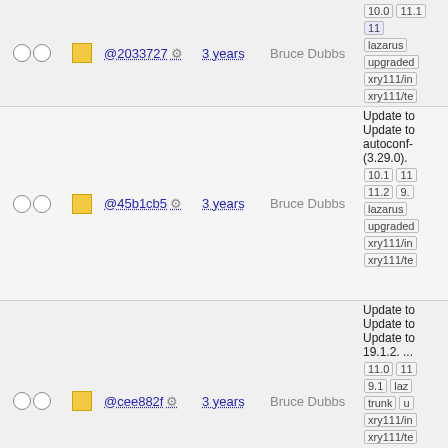| checks | color | hash | gear | age | author | info |
| --- | --- | --- | --- | --- | --- | --- |
| ○ ○ | ■ | @2033727 | ⚙ | 3 years | Bruce Dubbs | 10.0 11.1 11... lazarus upgraded xry111/int xry111/tes |
| ○ ○ | ■ | @45b1cb5 | ⚙ | 3 years | Bruce Dubbs | Update to... Update to autoconf-(3.29.0). 10.1 11 11.2 9... lazarus upgraded xry111/int xry111/tes |
| ○ ○ | ■ | @cee882f | ⚙ | 3 years | Bruce Dubbs | Update to Update to Update to 19.1.2. ... 11.0 11 9.1 laz trunk u xry111/int xry111/tes |
| ○ ○ | ■ | @3507f80 | ⚙ | 3 years | ken | firefox-68 ... 10.0 11.1 11 lazaris |